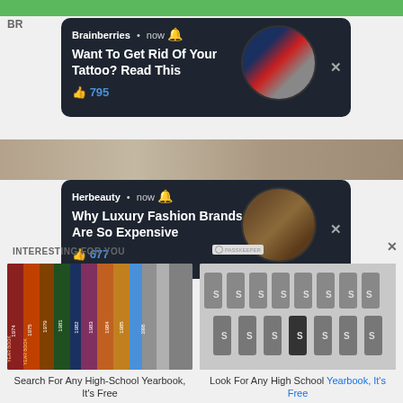[Figure (screenshot): Brainberries notification card with text 'Want To Get Rid Of Your Tattoo? Read This' and 795 likes, circular photo of tattoo removal device]
[Figure (screenshot): Herbeauty notification card with text 'Why Luxury Fashion Brands Are So Expensive' and 677 likes, circular photo of Louis Vuitton bag]
INTERESTING FOR YOU
[Figure (photo): Stack of high school yearbooks from 1974-1995]
Search For Any High-School Yearbook, It's Free
[Figure (photo): Black and white photo of a high school basketball team]
Look For Any High School Yearbook, It's Free